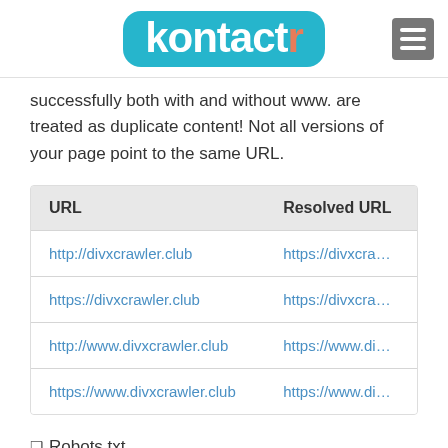kontactr
successfully both with and without www. are treated as duplicate content! Not all versions of your page point to the same URL.
| URL | Resolved URL |
| --- | --- |
| http://divxcrawler.club | https://divxcra… |
| https://divxcrawler.club | https://divxcra… |
| http://www.divxcrawler.club | https://www.di… |
| https://www.divxcrawler.club | https://www.di… |
❑ Robots.txt